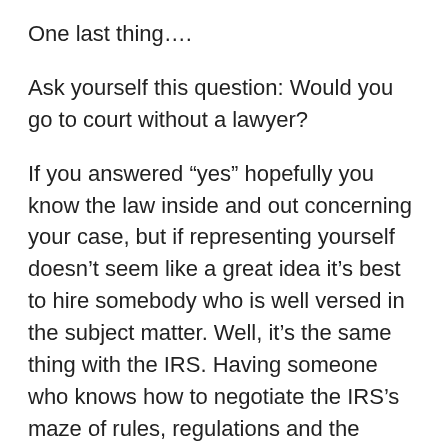One last thing….
Ask yourself this question: Would you go to court without a lawyer?
If you answered “yes” hopefully you know the law inside and out concerning your case, but if representing yourself doesn’t seem like a great idea it’s best to hire somebody who is well versed in the subject matter. Well, it’s the same thing with the IRS. Having someone who knows how to negotiate the IRS’s maze of rules, regulations and the 74,000 pages of the Tax Code and deal with the IRS may be the best money you’ve ever spent!
If you want the help of an expert tax resolution professional who navigates the IRS maze for a living, reach out to our firm and we’ll schedule a no-